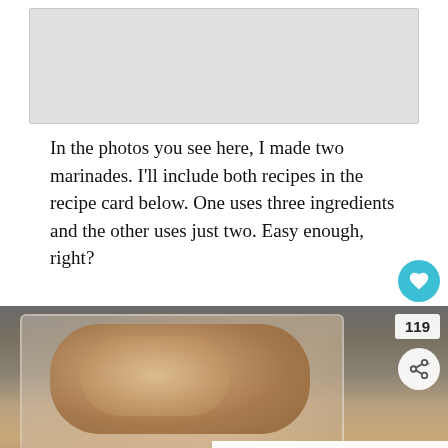[Figure (photo): Gray placeholder image area at top of page]
In the photos you see here, I made two marinades. I'll include both recipes in the recipe card below. One uses three ingredients and the other uses just two. Easy enough, right?
[Figure (photo): Photo of marinated chicken pieces in a glass baking dish, coated in seasoning and marinade, on a dark speckled countertop. A 'What's Next: Air Fryer Steak Bites' overlay appears in the bottom right, with a heart icon showing 119 likes and a share button.]
[Figure (other): Advertisement bar: 'You can help hungry kids.' with No Kid Hungry logo and 'LEARN HOW' button on orange background]